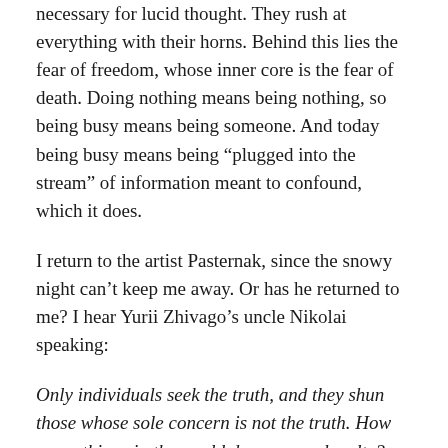necessary for lucid thought. They rush at everything with their horns. Behind this lies the fear of freedom, whose inner core is the fear of death. Doing nothing means being nothing, so being busy means being someone. And today being busy means being “plugged into the stream” of information meant to confound, which it does.
I return to the artist Pasternak, since the snowy night can’t keep me away. Or has he returned to me? I hear Yurii Zhivago’s uncle Nikolai speaking:
Only individuals seek the truth, and they shun those whose sole concern is not the truth. How many things in the world deserve our loyalty? Very few indeed. I think one should be loyal to immortality, which is another word for life, a stronger word for it … What you don’t understand is that it is possible to be an atheist, it is possible to not know whether God exists, or why,